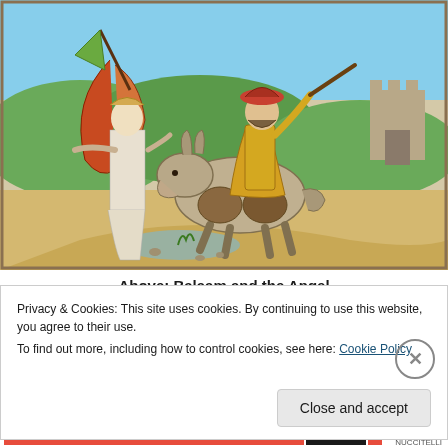[Figure (illustration): A medieval-style hand-colored woodcut illustration depicting Balaam riding a donkey, with an angel blocking the path. The angel stands on the left with wings spread, wearing white robes. Balaam sits on a kneeling donkey and raises a stick. A castle tower is visible in the background on the right, with hills and a winding path.]
Above: Balaam and the Angel
Privacy & Cookies: This site uses cookies. By continuing to use this website, you agree to their use.
To find out more, including how to control cookies, see here: Cookie Policy